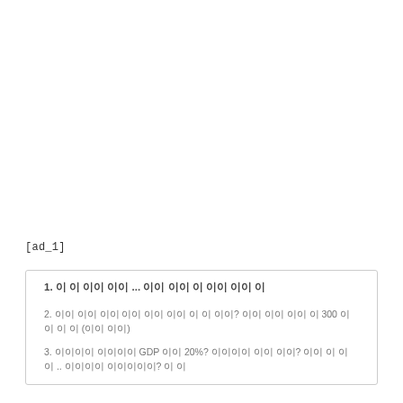[ad_1]
1. 이 글 제목 내용 ... 관련 내용 및 이하의 내용 이
2. 정부 관련 내용의 내용 이하의 내용 이 이 무엇? 이하 내용 내용 이 300 이 이 이 이 (이하 내용)
3. 이하이하 이하이하 GDP 이하 20%? 이하이하 이하 이하? 이하 이 이 이 .. 이하이하 이하이하이? 이 이